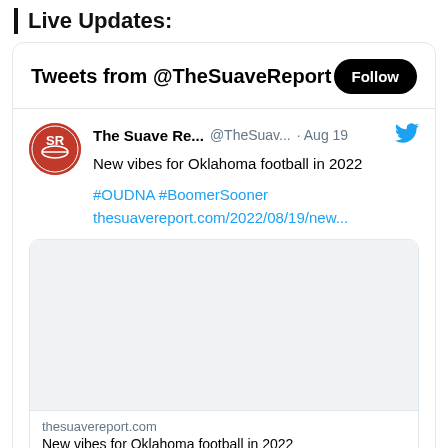Live Updates:
Tweets from @TheSuaveReport
The Suave Re... @TheSuav... · Aug 19
New vibes for Oklahoma football in 2022

#OUDNA #BoomerSooner
thesuavereport.com/2022/08/19/new...
[Figure (screenshot): Embedded tweet card image area (blank/white image placeholder)]
thesuavereport.com
New vibes for Oklahoma football in 2022